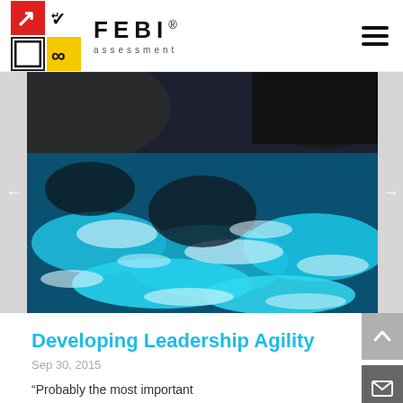[Figure (logo): FEBI Assessment logo with colored grid squares (red with arrow, white with checkmark, blue outline square, yellow with infinity symbol) and FEBI assessment brand name]
[Figure (photo): Aerial or close-up photo of turbulent blue water/rapids/waterfall with dark rocks]
Developing Leadership Agility
Sep 30, 2015
“Probably the most important competency for leaders to have in[...]